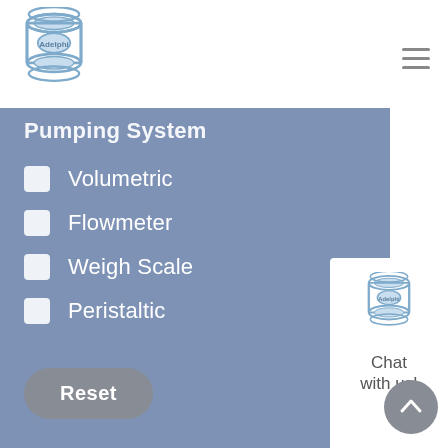[Figure (logo): Adelphi company logo — stylized stacked rings/barrels with 'Adelphi' text inside, in blue outline style]
Pumping System
Volumetric
Flowmeter
Weigh Scale
Peristaltic
Reset
[Figure (logo): Adelphi company logo small — stylized stacked rings/barrels in blue outline style]
Chat with us!